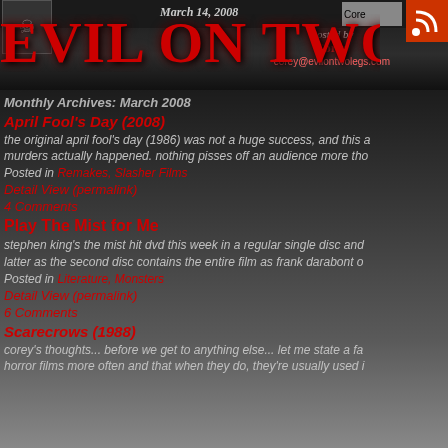Evil On Two Legs - Monthly Archives: March 2008
Posted by Corey
corey@evilontwolegs.com
March 14, 2008
Monthly Archives: March 2008
April Fool's Day (2008)
the original april fool's day (1986) was not a huge success, and this a... murders actually happened. nothing pisses off an audience more tho...
Posted in Remakes, Slasher Films
Detail View (permalink)
4 Comments
Play The Mist for Me
stephen king's the mist hit dvd this week in a regular single disc and... latter as the second disc contains the entire film as frank darabont o...
Posted in Literature, Monsters
Detail View (permalink)
6 Comments
Scarecrows (1988)
corey's thoughts... before we get to anything else... let me state a fa... horror films more often and that when they do, they're usually used i...